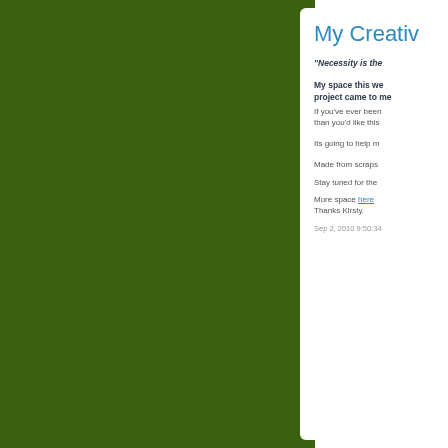My Creativ
"Necessity is the
My space this we project came to me
If you've ever been than you'd like this
Its going to help m
Made from scraps
Stay tuned for the
More space here
Thanks Kirsty.
Sep 2, 2010 9:50:34